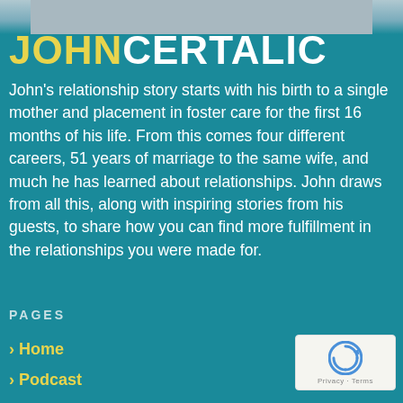[Figure (photo): Top banner area showing a partial photo of John Certalic]
JOHNCERTALIC
John's relationship story starts with his birth to a single mother and placement in foster care for the first 16 months of his life. From this comes four different careers, 51 years of marriage to the same wife, and much he has learned about relationships. John draws from all this, along with inspiring stories from his guests, to share how you can find more fulfillment in the relationships you were made for.
PAGES
› Home
› Podcast